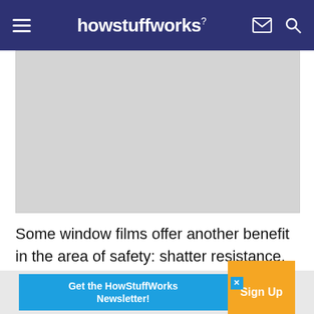howstuffworks
[Figure (photo): Grey placeholder image for article photo]
Some window films offer another benefit in the area of safety: shatter resistance. The film's shatter resistance comes from its ability to hold glass shards together and act as a barrier between the
[Figure (infographic): Get the HowStuffWorks Newsletter! Sign Up advertisement banner]